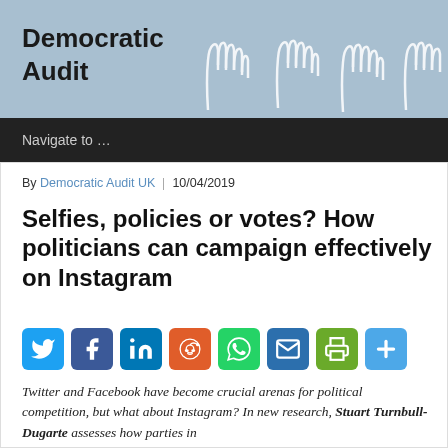Democratic Audit
Navigate to …
By Democratic Audit UK | 10/04/2019
Selfies, policies or votes? How politicians can campaign effectively on Instagram
[Figure (infographic): Social media share buttons: Twitter, Facebook, LinkedIn, Reddit, WhatsApp, Email, Print, Share]
Twitter and Facebook have become crucial arenas for political competition, but what about Instagram? In new research, Stuart Turnbull-Dugarte assesses how parties in